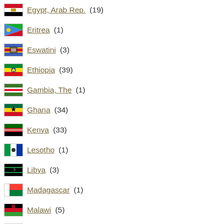Egypt, Arab Rep. (19)
Eritrea (1)
Eswatini (3)
Ethiopia (39)
Gambia, The (1)
Ghana (34)
Kenya (33)
Lesotho (1)
Libya (3)
Madagascar (1)
Malawi (5)
Mauritius (3)
Morocco (1)
Mozambique (1)
Nigeria (252)
Rwanda (9)
Senegal (6)
Sierra Leone (1)
South Africa (101)
South Sudan (1)
Sudan (3)
Tanzania (27)